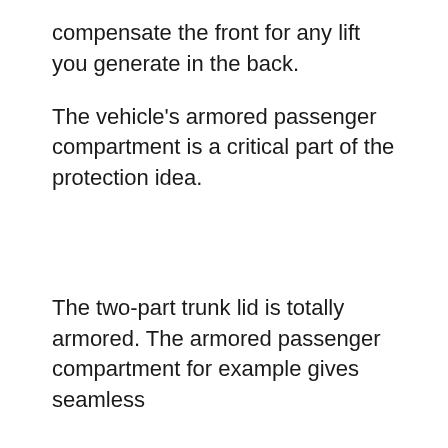compensate the front for any lift you generate in the back.
The vehicle's armored passenger compartment is a critical part of the protection idea.
The two-part trunk lid is totally armored. The armored passenger compartment for example gives seamless